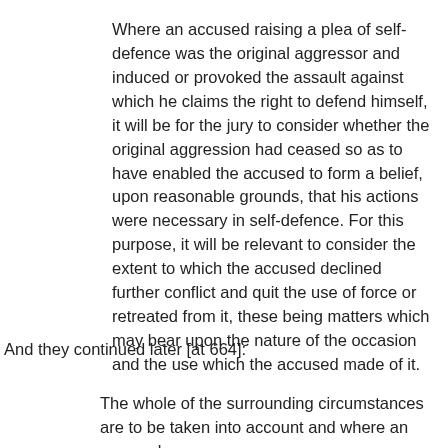Where an accused raising a plea of self-defence was the original aggressor and induced or provoked the assault against which he claims the right to defend himself, it will be for the jury to consider whether the original aggression had ceased so as to have enabled the accused to form a belief, upon reasonable grounds, that his actions were necessary in self-defence. For this purpose, it will be relevant to consider the extent to which the accused declined further conflict and quit the use of force or retreated from it, these being matters which may bear upon the nature of the occasion and the use which the accused made of it.
And they continued later [at 664]:
The whole of the surrounding circumstances are to be taken into account and where an accused